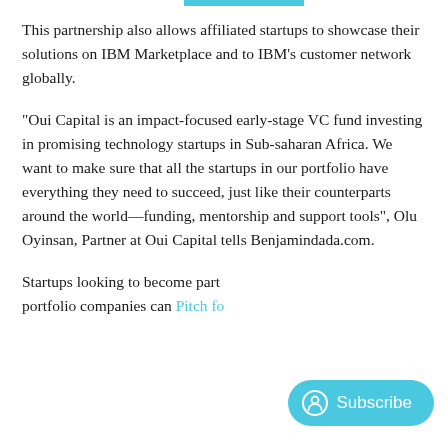This partnership also allows affiliated startups to showcase their solutions on IBM Marketplace and to IBM's customer network globally.
"Oui Capital is an impact-focused early-stage VC fund investing in promising technology startups in Sub-saharan Africa. We want to make sure that all the startups in our portfolio have everything they need to succeed, just like their counterparts around the world—funding, mentorship and support tools", Olu Oyinsan, Partner at Oui Capital tells Benjamindada.com.
Startups looking to become part of the portfolio companies can Pitch for…